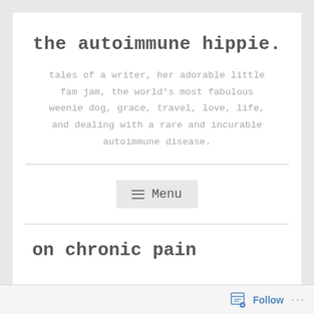the autoimmune hippie.
tales of a writer, her adorable little fam jam, the world's most fabulous weenie dog, grace, travel, love, life, and dealing with a rare and incurable autoimmune disease.
Menu
on chronic pain
Follow ...